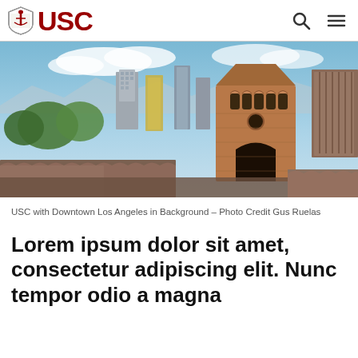USC
[Figure (photo): USC campus building with Downtown Los Angeles skyline in background, blue sky with clouds]
USC with Downtown Los Angeles in Background – Photo Credit Gus Ruelas
Lorem ipsum dolor sit amet, consectetur adipiscing elit. Nunc tempor odio a magna